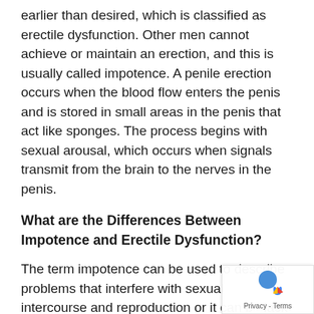earlier than desired, which is classified as erectile dysfunction. Other men cannot achieve or maintain an erection, and this is usually called impotence. A penile erection occurs when the blood flow enters the penis and is stored in small areas in the penis that act like sponges. The process begins with sexual arousal, which occurs when signals transmit from the brain to the nerves in the penis.
What are the Differences Between Impotence and Erectile Dysfunction?
The term impotence can be used to describe problems that interfere with sexual intercourse and reproduction or it can be lack of sexual desire and problems.